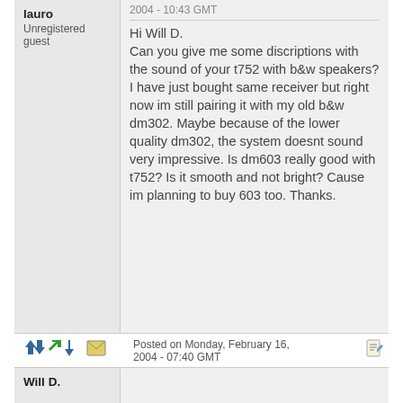2004 - 10:43 GMT
lauro
Unregistered guest
Hi Will D. Can you give me some discriptions with the sound of your t752 with b&w speakers? I have just bought same receiver but right now im still pairing it with my old b&w dm302. Maybe because of the lower quality dm302, the system doesnt sound very impressive. Is dm603 really good with t752? Is it smooth and not bright? Cause im planning to buy 603 too. Thanks.
Posted on Monday, February 16, 2004 - 07:40 GMT
Will D.